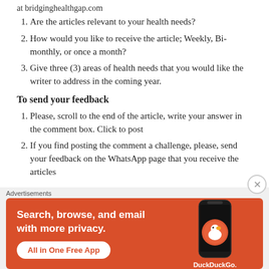at bridginghealthgap.com
Are the articles relevant to your health needs?
How would you like to receive the article; Weekly, Bi-monthly, or once a month?
Give three (3) areas of health needs that you would like the writer to address in the coming year.
To send your feedback
Please, scroll to the end of the article, write your answer in the comment box. Click to post
If you find posting the comment a challenge, please, send your feedback on the WhatsApp page that you receive the articles
[Figure (screenshot): DuckDuckGo advertisement banner: orange background with text 'Search, browse, and email with more privacy.' and 'All in One Free App' button, with a phone image showing the DuckDuckGo logo and name.]